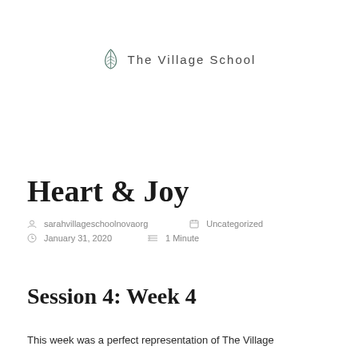[Figure (logo): The Village School logo with a leaf/plant icon and text 'The Village School' in spaced lettering]
Heart & Joy
by sarahvillageschoolnovaorg   Uncategorized
January 31, 2020   1 Minute
Session 4: Week 4
This week was a perfect representation of The Village